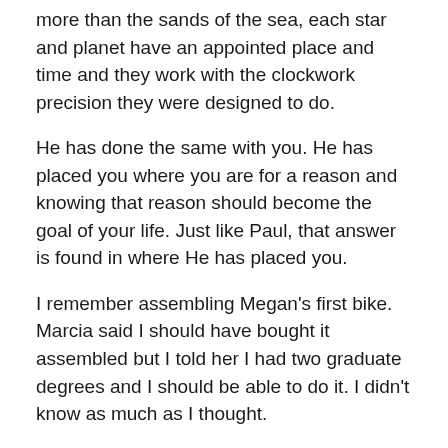more than the sands of the sea, each star and planet have an appointed place and time and they work with the clockwork precision they were designed to do.
He has done the same with you. He has placed you where you are for a reason and knowing that reason should become the goal of your life. Just like Paul, that answer is found in where He has placed you.
I remember assembling Megan's first bike. Marcia said I should have bought it assembled but I told her I had two graduate degrees and I should be able to do it. I didn't know as much as I thought.
I did learn that every piece has a purpose, and you can't leave them out, but I also learned that the right tool makes all the difference.
If you find yourself struggling to discover your purpose in this life, the